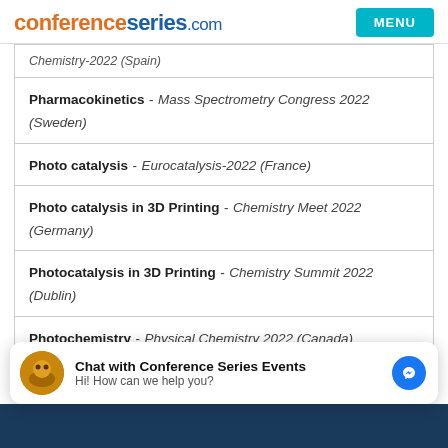conferenceseries.com | MENU
Pharmacokinetics - Mass Spectrometry Congress 2022 (Sweden)
Photo catalysis - Eurocatalysis-2022 (France)
Photo catalysis in 3D Printing - Chemistry Meet 2022 (Germany)
Photocatalysis in 3D Printing - Chemistry Summit 2022 (Dublin)
Photochemistry - Physical Chemistry 2022 (Canada)
Chat with Conference Series Events
Hi! How can we help you?
2022 (Dublin)